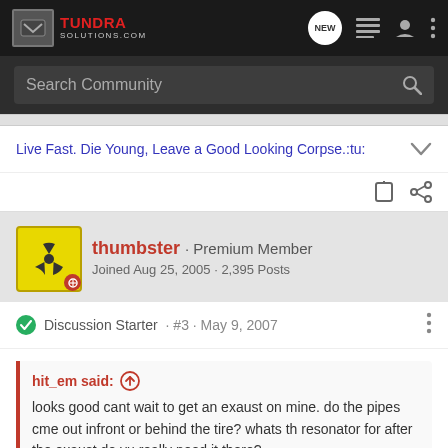TUNDRA SOLUTIONS.COM
Search Community
Live Fast. Die Young, Leave a Good Looking Corpse.:tu:
thumbster · Premium Member
Joined Aug 25, 2005 · 2,395 Posts
Discussion Starter · #3 · May 9, 2007
hit_em said: looks good cant wait to get an exaust on mine. do the pipes cme out infront or behind the tire? whats th resonator for after the exaust do yu really need it there?